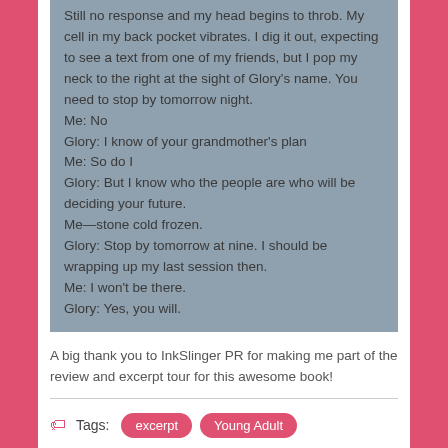Still no response and my head begins to throb. My cell in my back pocket vibrates. I dig it out, expecting to see a text from one of my friends, but I pop my neck to the right at the sight of Glory's name. You need to stop by tomorrow night.
Me: No
Glory: I know of your grandmother's plan
Me: So do I
Glory: But I know who the people are who will be deciding your future.
Me—stone cold frozen.
Glory: Stop by tomorrow at nine. I should be wrapping up my last session then.
Me: I won't be there.
Glory: Yes, you will.
A big thank you to InkSlinger PR for making me part of the review and excerpt tour for this awesome book!
Tags: excerpt Young Adult
#Book News
No comments